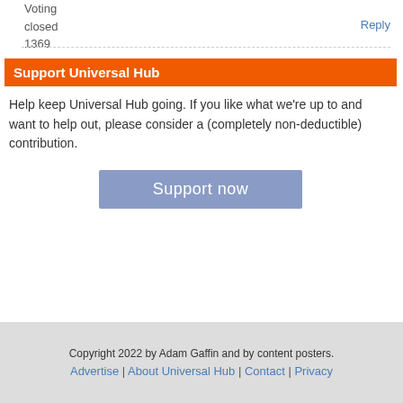Voting
closed
1369
Reply
Support Universal Hub
Help keep Universal Hub going. If you like what we're up to and want to help out, please consider a (completely non-deductible) contribution.
Support now
Copyright 2022 by Adam Gaffin and by content posters.
Advertise | About Universal Hub | Contact | Privacy